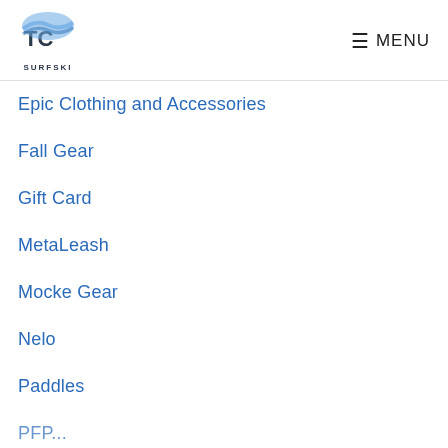TC SURFSKI — MENU
Epic Clothing and Accessories
Fall Gear
Gift Card
MetaLeash
Mocke Gear
Nelo
Paddles
PFD...